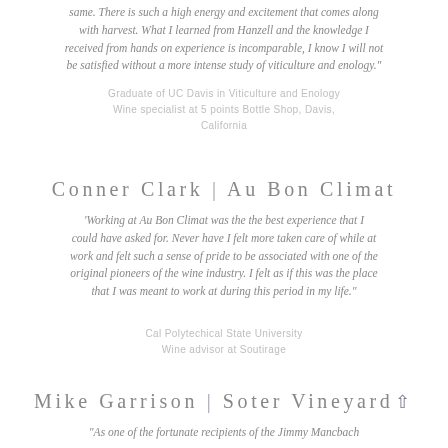same. There is such a high energy and excitement that comes along with harvest. What I learned from Hanzell and the knowledge I received from hands on experience is incomparable, I know I will not be satisfied without a more intense study of viticulture and enology."
Graduate of UC Davis in Viticulture and Enology
Wine specialist at 5 points Bottle Shop, Davis, California
Conner Clark | Au Bon Climat
"Working at Au Bon Climat was the the best experience that I could have asked for. Never have I felt more taken care of while at work and felt such a sense of pride to be associated with one of the original pioneers of the wine industry. I felt as if this was the place that I was meant to work at during this period in my life."
Cal Polytechical State University
Wine advisor at Soutirage
Mike Garrison | Soter Vineyards
"As one of the fortunate recipients of the Jimmy Mancbach